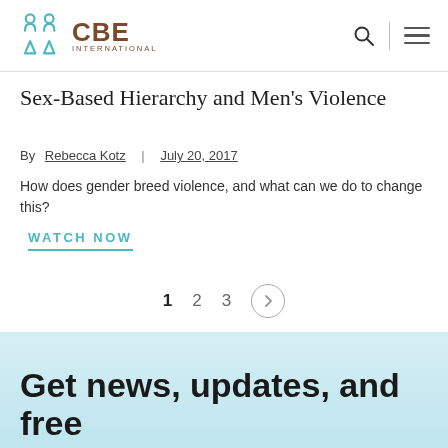CBE INTERNATIONAL
Sex-Based Hierarchy and Men's Violence
By Rebecca Kotz | July 20, 2017
How does gender breed violence, and what can we do to change this?
WATCH NOW
1  2  3  >
Get news, updates, and free